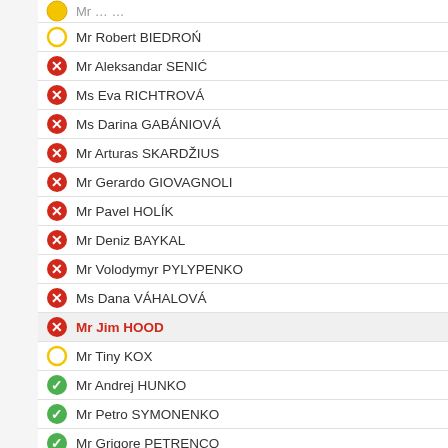Mr Robert BIEDROŃ
Mr Aleksandar SENIĆ
Ms Eva RICHTROVÁ
Ms Darina GABÁNIOVÁ
Mr Arturas SKARDŽIUS
Mr Gerardo GIOVAGNOLI
Mr Pavel HOLÍK
Mr Deniz BAYKAL
Mr Volodymyr PYLYPENKO
Ms Dana VÁHALOVÁ
Mr Jim HOOD
Mr Tiny KOX
Mr Andrej HUNKO
Mr Petro SYMONENKO
Mr Grigore PETRENCO